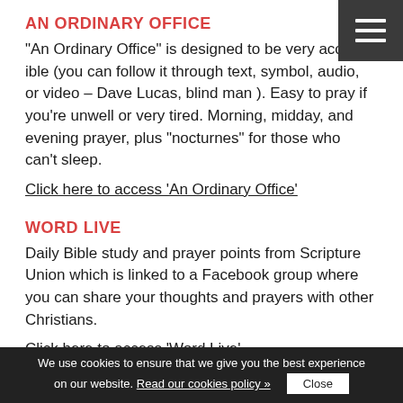AN ORDINARY OFFICE
“An Ordinary Office” is designed to be very accessible (you can follow it through text, symbol, audio, or video – Dave Lucas, blind man ). Easy to pray if you’re unwell or very tired. Morning, midday, and evening prayer, plus “nocturnes” for those who can’t sleep.
Click here to access ‘An Ordinary Office’
WORD LIVE
Daily Bible study and prayer points from Scripture Union which is linked to a Facebook group where you can share your thoughts and prayers with other Christians.
Click here to access ‘Word Live’
LECTIO 365
We use cookies to ensure that we give you the best experience on our website. Read our cookies policy »  Close